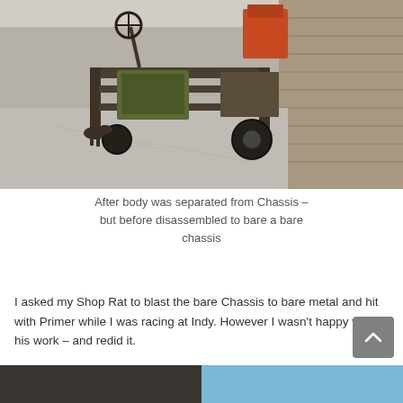[Figure (photo): Photo of a rusted vehicle chassis stripped of its body, sitting on a concrete garage floor. A steering wheel is visible, along with the engine and frame. A forklift and stone wall are in the background.]
After body was separated from Chassis – but before disassembled to bare a bare chassis
I asked my Shop Rat to blast the bare Chassis to bare metal and hit with Primer while I was racing at Indy. However I wasn't happy with his work – and redid it.
[Figure (photo): Partial photo at bottom of page, showing two side-by-side images — left appears to show a dark surface, right shows a bright blue area.]